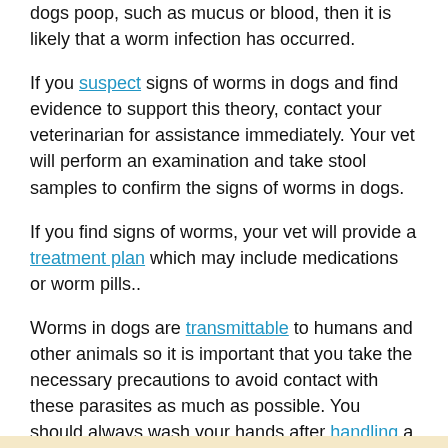dogs poop, such as mucus or blood, then it is likely that a worm infection has occurred.
If you suspect signs of worms in dogs and find evidence to support this theory, contact your veterinarian for assistance immediately. Your vet will perform an examination and take stool samples to confirm the signs of worms in dogs.
If you find signs of worms, your vet will provide a treatment plan which may include medications or worm pills..
Worms in dogs are transmittable to humans and other animals so it is important that you take the necessary precautions to avoid contact with these parasites as much as possible. You should always wash your hands after handling a dog and avoid feeding the animal raw foods which may contain eggs of worm larvae.